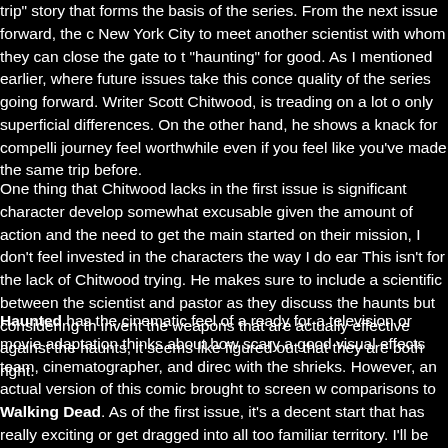trip" story that forms the basis of the series. From the next issue forward, the c New York City to meet another scientist with whom they can close the gate to t "haunting" for good. As I mentioned earlier, where future issues take this conce quality of the series going forward. Writer Scott Chitwood, is treading on a lot o only superficial differences. On the other hand, he shows a knack for compelli journey feel worthwhile even if you feel like you've made the same trip before.
One thing that Chitwood lacks in the first issue is significant character develop somewhat excusable given the amount of action and the need to get the main started on their mission, I don't feel invested in the characters the way I do ear This isn't for the lack of Chitwood trying. He makes sure to include a scientific between the scientist and pastor as they discuss the haunts but considering th invent the weapons that are actually effective against the haunts, it seems like figured out that they are both right.
Haunted has the cinematic feel of a ready for a television or movie adaptation thinks about how scary a good visual effects team, cinematographer, and direc with the shrieks. However, an actual version of this comic brought to screen w comparisons to Walking Dead. As of the first issue, it's a decent start that has really exciting or get dragged into all too familiar territory. I'll be curious to see takes it. At least he has an artist who is highly capable of bringing the eerie fee whatever is written feel like a real horror comic.